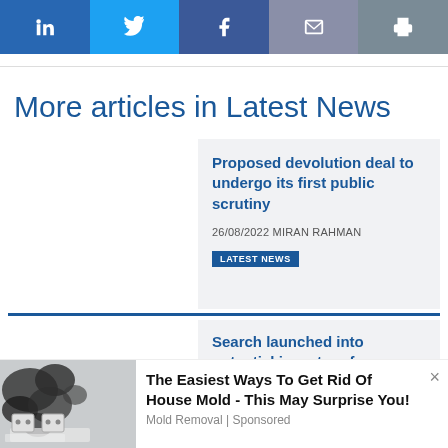[Figure (screenshot): Social media share buttons: LinkedIn (blue), Twitter (light blue), Facebook (dark blue), Email (grey-blue), Print (grey)]
More articles in Latest News
Proposed devolution deal to undergo its first public scrutiny
26/08/2022 MIRAN RAHMAN
LATEST NEWS
Search launched into potential investors for Doncaster Sheffield...
[Figure (photo): Advertisement image showing mold on a wall with electrical outlets]
The Easiest Ways To Get Rid Of House Mold - This May Surprise You! Mold Removal | Sponsored